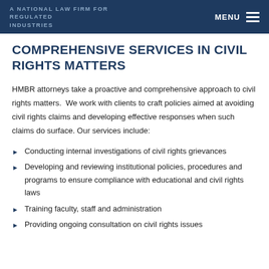A NATIONAL LAW FIRM FOR REGULATED INDUSTRIES
COMPREHENSIVE SERVICES IN CIVIL RIGHTS MATTERS
HMBR attorneys take a proactive and comprehensive approach to civil rights matters. We work with clients to craft policies aimed at avoiding civil rights claims and developing effective responses when such claims do surface. Our services include:
Conducting internal investigations of civil rights grievances
Developing and reviewing institutional policies, procedures and programs to ensure compliance with educational and civil rights laws
Training faculty, staff and administration
Providing ongoing consultation on civil rights issues